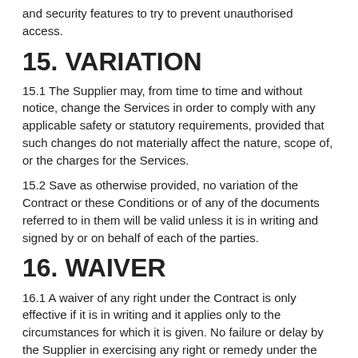and security features to try to prevent unauthorised access.
15. VARIATION
15.1 The Supplier may, from time to time and without notice, change the Services in order to comply with any applicable safety or statutory requirements, provided that such changes do not materially affect the nature, scope of, or the charges for the Services.
15.2 Save as otherwise provided, no variation of the Contract or these Conditions or of any of the documents referred to in them will be valid unless it is in writing and signed by or on behalf of each of the parties.
16. WAIVER
16.1 A waiver of any right under the Contract is only effective if it is in writing and it applies only to the circumstances for which it is given. No failure or delay by the Supplier in exercising any right or remedy under the Contract or by law will constitute a waiver of that (or any other) right or remedy, nor preclude or restrict its further exercise. No single or partial exercise of such right or remedy will